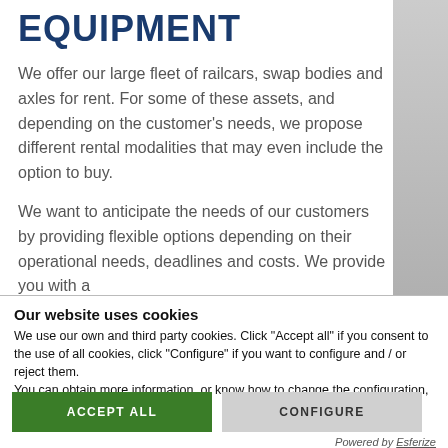EQUIPMENT
We offer our large fleet of railcars, swap bodies and axles for rent. For some of these assets, and depending on the customer's needs, we propose different rental modalities that may even include the option to buy.
We want to anticipate the needs of our customers by providing flexible options depending on their operational needs, deadlines and costs. We provide you with a
Our website uses cookies
We use our own and third party cookies. Click "Accept all" if you consent to the use of all cookies, click "Configure" if you want to configure and / or reject them.
You can obtain more information, or know how to change the configuration, by clicking here
ACCEPT ALL
CONFIGURE
Powered by Esferize